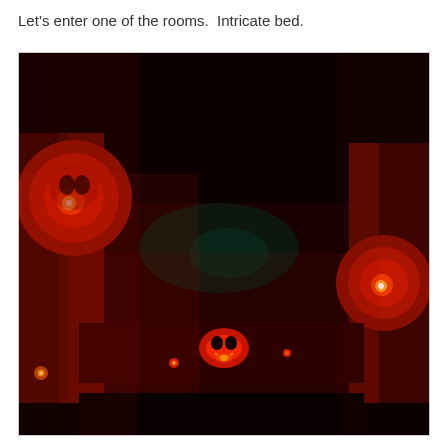Let’s enter one of the rooms.  Intricate bed.
[Figure (photo): A dark room illuminated in deep red light showing what appears to be an ornate bed with tall bedposts topped with glowing red spherical finials. Small orange and red lights glow from the headboard area. The scene has a moody, dramatic ambiance with fog or haze visible in the background. A green light is faintly visible in the upper middle area.]